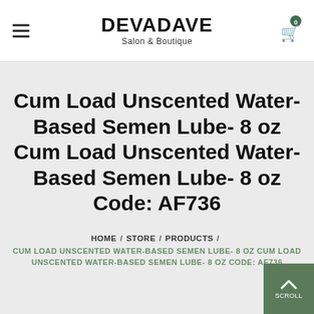DEVADAVE Salon & Boutique
Cum Load Unscented Water-Based Semen Lube- 8 oz Cum Load Unscented Water-Based Semen Lube- 8 oz Code: AF736
HOME / STORE / PRODUCTS / CUM LOAD UNSCENTED WATER-BASED SEMEN LUBE- 8 OZ CUM LOAD UNSCENTED WATER-BASED SEMEN LUBE- 8 OZ CODE: AF736